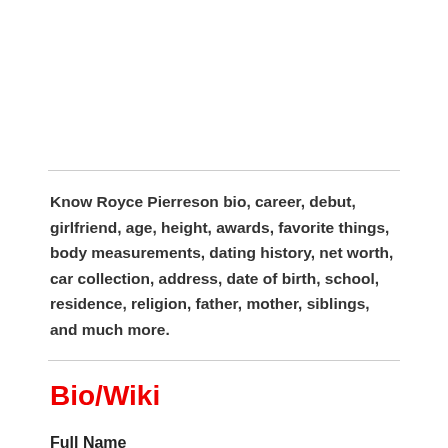Know Royce Pierreson bio, career, debut, girlfriend, age, height, awards, favorite things, body measurements, dating history, net worth, car collection, address, date of birth, school, residence, religion, father, mother, siblings, and much more.
Bio/Wiki
Full Name